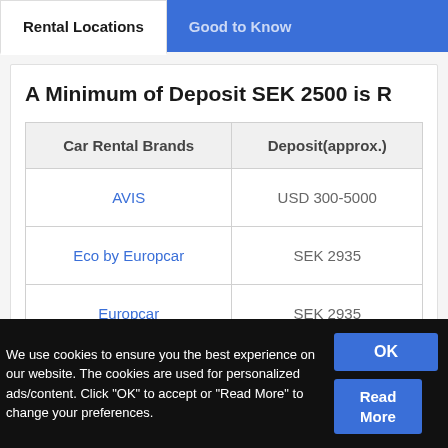Rental Locations | Good to Know
A Minimum of Deposit SEK 2500 is R
| Car Rental Brands | Deposit(approx.) |
| --- | --- |
| AVIS | USD 300-5000 |
| Eco by Europcar | SEK 2935 |
| Europcar | SEK 2935 |
We use cookies to ensure you the best experience on our website. The cookies are used for personalized ads/content. Click "OK" to accept or "Read More" to change your preferences.